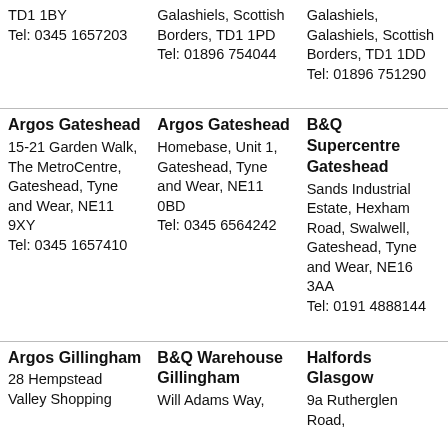TD1 1BY
Tel: 0345 1657203
Galashiels, Scottish Borders, TD1 1PD
Tel: 01896 754044
Galashiels, Galashiels, Scottish Borders, TD1 1DD
Tel: 01896 751290
Argos Gateshead
15-21 Garden Walk, The MetroCentre, Gateshead, Tyne and Wear, NE11 9XY
Tel: 0345 1657410
Argos Gateshead
Homebase, Unit 1, Gateshead, Tyne and Wear, NE11 0BD
Tel: 0345 6564242
B&Q Supercentre Gateshead
Sands Industrial Estate, Hexham Road, Swalwell, Gateshead, Tyne and Wear, NE16 3AA
Tel: 0191 4888144
Argos Gillingham
28 Hempstead Valley Shopping
B&Q Warehouse Gillingham
Will Adams Way,
Halfords Glasgow
9a Rutherglen Road,